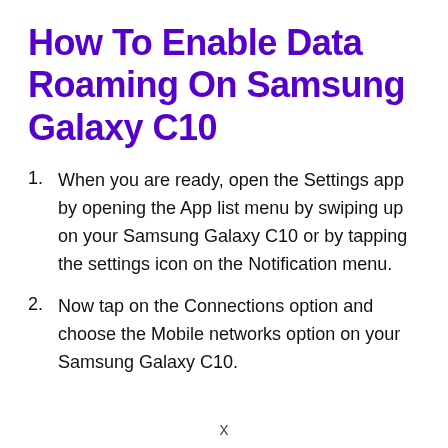How To Enable Data Roaming On Samsung Galaxy C10
When you are ready, open the Settings app by opening the App list menu by swiping up on your Samsung Galaxy C10 or by tapping the settings icon on the Notification menu.
Now tap on the Connections option and choose the Mobile networks option on your Samsung Galaxy C10.
x